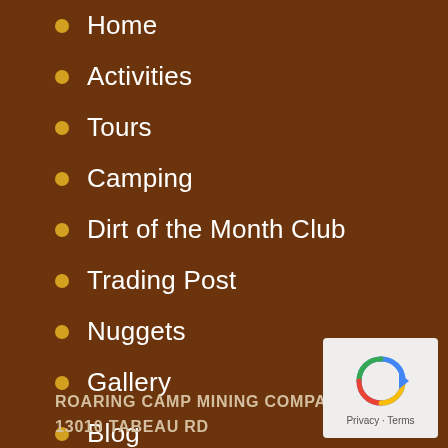Home
Activities
Tours
Camping
Dirt of the Month Club
Trading Post
Nuggets
Gallery
Blog
Roaring Camp Map
ROARING CAMP MINING COMPANY
13010 TABEAU RD
[Figure (logo): reCAPTCHA privacy badge with blue arrow logo]